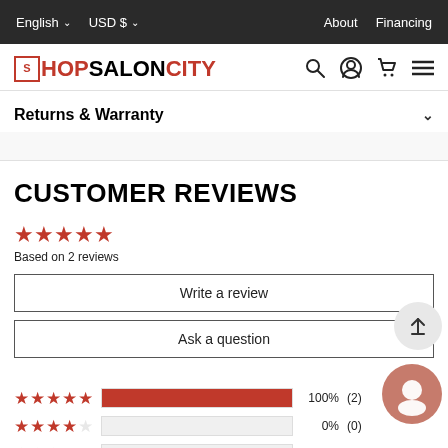English  USD $  About  Financing
[Figure (logo): ShopSalonCity logo with navigation icons (search, account, cart, menu)]
Returns & Warranty
CUSTOMER REVIEWS
5 stars — Based on 2 reviews
Write a review
Ask a question
[Figure (bar-chart): Customer Review Ratings]